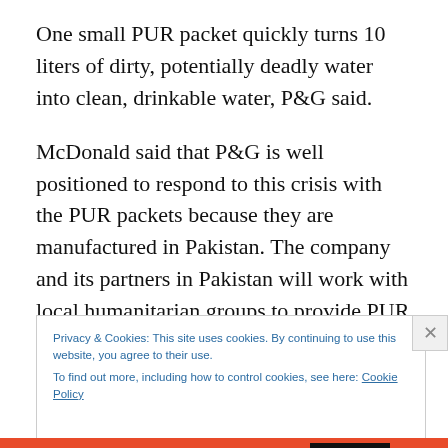One small PUR packet quickly turns 10 liters of dirty, potentially deadly water into clean, drinkable water, P&G said.
McDonald said that P&G is well positioned to respond to this crisis with the PUR packets because they are manufactured in Pakistan. The company and its partners in Pakistan will work with local humanitarian groups to provide PUR packets as well as training to ensure proper use.
Privacy & Cookies: This site uses cookies. By continuing to use this website, you agree to their use.
To find out more, including how to control cookies, see here: Cookie Policy